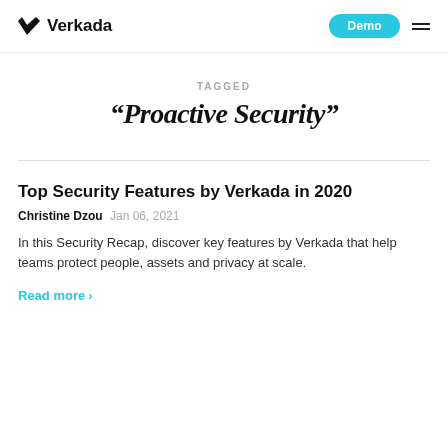Verkada
TAGGED
“Proactive Security”
Top Security Features by Verkada in 2020
Christine Dzou Jan 06, 2021
In this Security Recap, discover key features by Verkada that help teams protect people, assets and privacy at scale.
Read more >